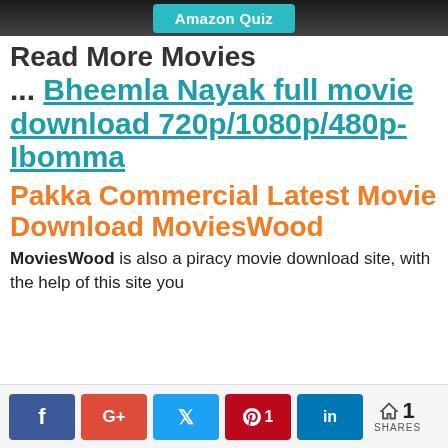Amazon Quiz
Read More Movies
... Bheemla Nayak full movie download 720p/1080p/480p-Ibomma
Pakka Commercial Latest Movie Download MoviesWood
MoviesWood is also a piracy movie download site, with the help of this site you
f G+ t p 1 in < 1 SHARES